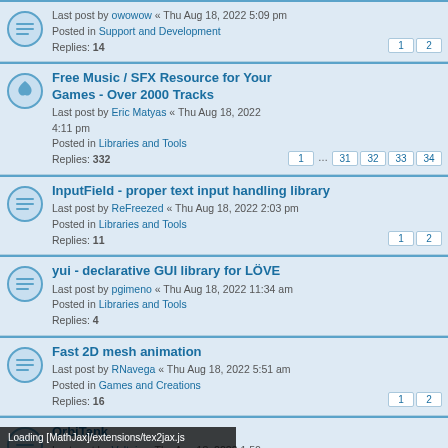Last post by owowow « Thu Aug 18, 2022 5:09 pm
Posted in Support and Development
Replies: 14
Free Music / SFX Resource for Your Games - Over 2000 Tracks
Last post by Eric Matyas « Thu Aug 18, 2022 4:11 pm
Posted in Libraries and Tools
Replies: 332
InputField - proper text input handling library
Last post by ReFreezed « Thu Aug 18, 2022 2:03 pm
Posted in Libraries and Tools
Replies: 11
yui - declarative GUI library for LÖVE
Last post by pgimeno « Thu Aug 18, 2022 11:34 am
Posted in Libraries and Tools
Replies: 4
Fast 2D mesh animation
Last post by RNavega « Thu Aug 18, 2022 5:51 am
Posted in Games and Creations
Replies: 16
OrbiTank
Last post by Voltaia « Thu Aug 18, 2022 1:50 am
Posted in Games and Creations
Astropatrolonium - feat. making of video - released on itch.io
« Wed Aug 17, 2022 9:38 pm
Posted in Games and Creations
Replies: 22
Loading [MathJax]/extensions/tex2jax.js